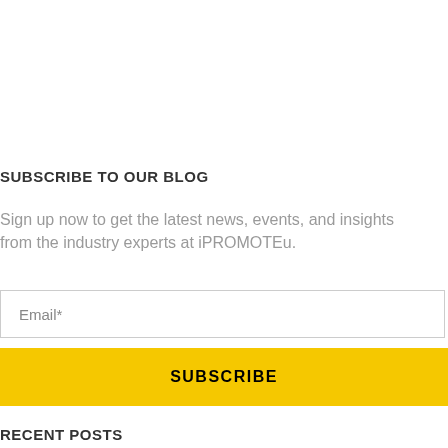SUBSCRIBE TO OUR BLOG
Sign up now to get the latest news, events, and insights from the industry experts at iPROMOTEu.
Email*
SUBSCRIBE
RECENT POSTS